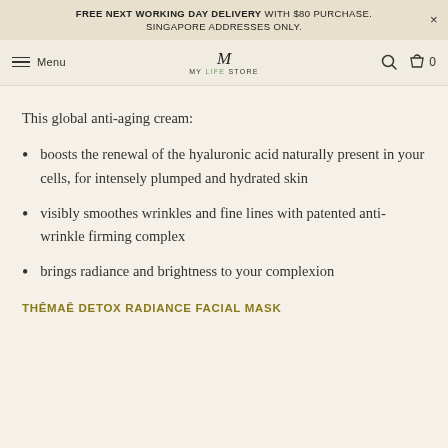FREE NEXT WORKING DAY DELIVERY WITH $80 PURCHASE. SINGAPORE ADDRESSES ONLY.
Menu | MY LIFE STORE
This global anti-aging cream:
boosts the renewal of the hyaluronic acid naturally present in your cells, for intensely plumped and hydrated skin
visibly smoothes wrinkles and fine lines with patented anti-wrinkle firming complex
brings radiance and brightness to your complexion
THÊMAÊ DETOX RADIANCE FACIAL MASK